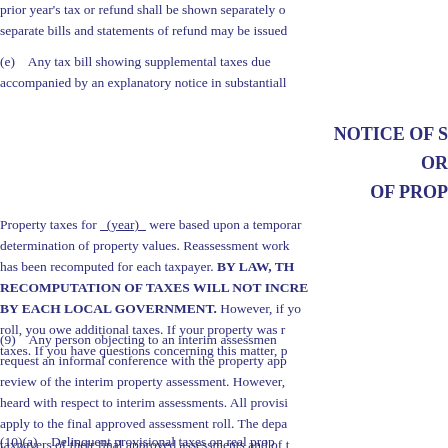prior year's tax or refund shall be shown separately o... separate bills and statements of refund may be issued
(e)    Any tax bill showing supplemental taxes due accompanied by an explanatory notice in substantiall
NOTICE OF S
OR
OF PROP
Property taxes for _(year)_ were based upon a temporar... determination of property values. Reassessment work has been recomputed for each taxpayer. BY LAW, TH RECOMPUTATION OF TAXES WILL NOT INCRE BY EACH LOCAL GOVERNMENT. However, if yo roll, you owe additional taxes. If your property was r taxes. If you have questions concerning this matter, p
(9)    Any person objecting to an interim assessmen request an informal conference with the property app review of the interim property assessment. However, heard with respect to interim assessments. All provisi apply to the final approved assessment roll. The depa taxpayers of their final approved assessments and of t
(10)(a)    Delinquent provisional taxes on real prop